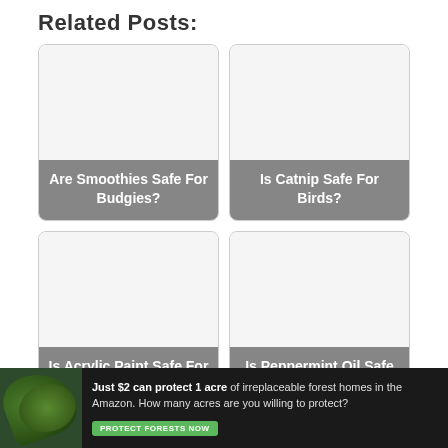Related Posts:
[Figure (other): Card placeholder image for 'Are Smoothies Safe For Budgies?']
Are Smoothies Safe For Budgies?
[Figure (other): Card placeholder image for 'Is Catnip Safe For Birds?']
Is Catnip Safe For Birds?
[Figure (other): Card placeholder image for 'Is Acrylic Paint Safe For Birds']
Is Acrylic Paint Safe For Birds
[Figure (other): Card placeholder image for 'Is Peppermint Oil Safe For Birds?']
Is Peppermint Oil Safe For Birds?
[Figure (other): Advertisement banner: Just $2 can protect 1 acre of irreplaceable forest homes in the Amazon. How many acres are you willing to protect? PROTECT FORESTS NOW]